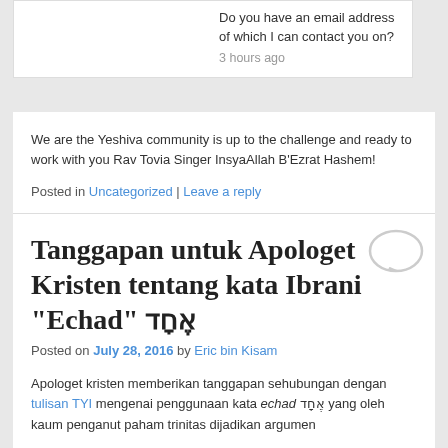Do you have an email address of which I can contact you on?
3 hours ago
We are the Yeshiva community is up to the challenge and ready to work with you Rav Tovia Singer InsyaAllah B'Ezrat Hashem!
Posted in Uncategorized | Leave a reply
Tanggapan untuk Apologet Kristen tentang kata Ibrani "Echad" אֶחָד
Posted on July 28, 2016 by Eric bin Kisam
Apologet kristen memberikan tanggapan sehubungan dengan tulisan TYI mengenai penggunaan kata echad אֶחָד yang oleh kaum penganut paham trinitas dijadikan argumen